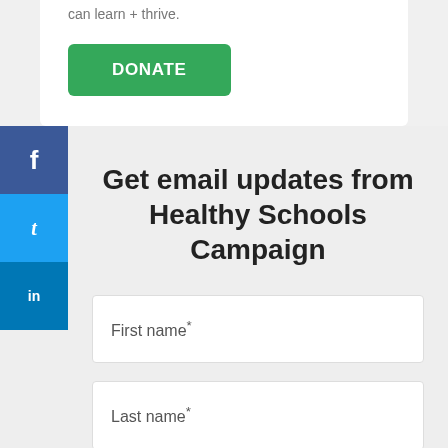can learn + thrive.
[Figure (other): Green DONATE button]
[Figure (other): Social media sidebar with Facebook, Twitter, LinkedIn buttons]
Get email updates from Healthy Schools Campaign
First name*
Last name*